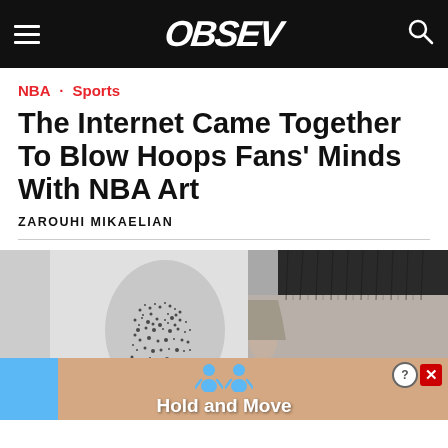OBSEV
NBA · Sports
The Internet Came Together To Blow Hoops Fans' Minds With NBA Art
ZAROUHI MIKAELIAN
[Figure (photo): Two portrait images side-by-side: left shows a stippled/pointillist black-and-white illustration of a face; right shows a close-up black-and-white photo of the top of a person's head with a haircut. Below both images is an advertisement banner reading 'Hold and Move' with cartoon figures and a close button.]